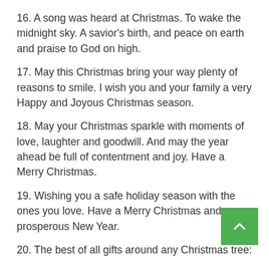16. A song was heard at Christmas. To wake the midnight sky. A savior's birth, and peace on earth and praise to God on high.
17. May this Christmas bring your way plenty of reasons to smile. I wish you and your family a very Happy and Joyous Christmas season.
18. May your Christmas sparkle with moments of love, laughter and goodwill. And may the year ahead be full of contentment and joy. Have a Merry Christmas.
19. Wishing you a safe holiday season with the ones you love. Have a Merry Christmas and a prosperous New Year.
20. The best of all gifts around any Christmas tree: